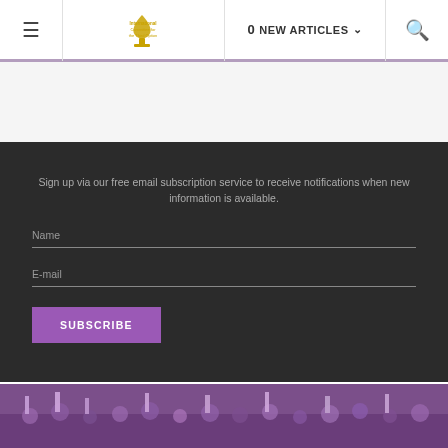≡  International Committee for the Third Option  |  0 NEW ARTICLES ∨  |  🔍
Sign up via our free email subscription service to receive notifications when new information is available.
Name
E-mail
SUBSCRIBE
[Figure (photo): Crowd of people holding purple items/signs at a rally or demonstration]